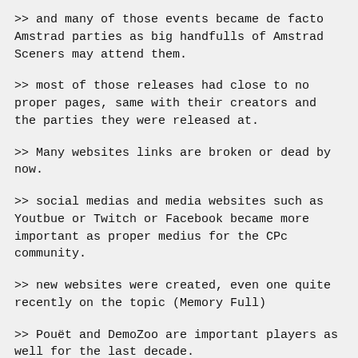>> and many of those events became de facto Amstrad parties as big handfulls of Amstrad Sceners may attend them.
>> most of those releases had close to no proper pages, same with their creators and the parties they were released at.
>> Many websites links are broken or dead by now.
>> social medias and media websites such as Youtbue or Twitch or Facebook became more important as proper medius for the CPc community.
>> new websites were created, even one quite recently on the topic (Memory Full)
>> Pouët and DemoZoo are important players as well for the last decade.
>> many sceners wouldn't quite even consider having things up to date here... I found out the spanish dudes from GUA and the Retro Madrid things were non-existant despite the huge work they did previous 10 years to promote CPC and